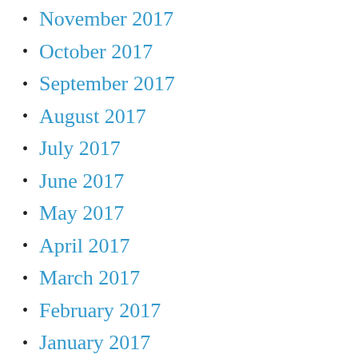November 2017
October 2017
September 2017
August 2017
July 2017
June 2017
May 2017
April 2017
March 2017
February 2017
January 2017
November 2016
February 2016
January 2016
November 2015
October 2015